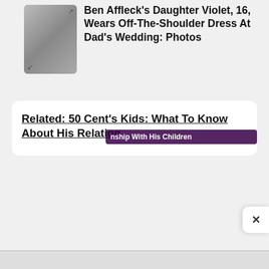[Figure (photo): A photo of people at a wedding, showing figures in white dress attire outdoors]
Ben Affleck's Daughter Violet, 16, Wears Off-The-Shoulder Dress At Dad's Wedding: Photos
Related: 50 Cent's Kids: What To Know About His Relationship With His Children